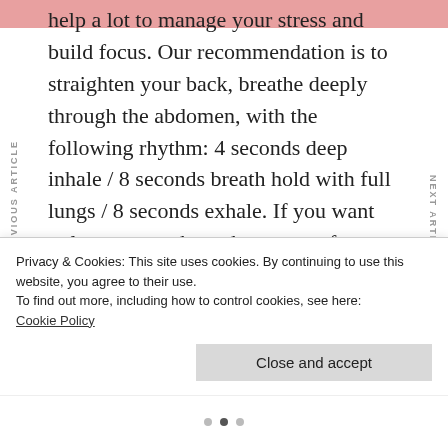help a lot to manage your stress and build focus. Our recommendation is to straighten your back, breathe deeply through the abdomen, with the following rhythm: 4 seconds deep inhale / 8 seconds breath hold with full lungs / 8 seconds exhale. If you want to learn more about the power of breathing to control our minds, we invite you to read our dedicated blog article: "Breathing, the key to our minds"
PREVIOUS ARTICLE
NEXT ARTICLE
Privacy & Cookies: This site uses cookies. By continuing to use this website, you agree to their use.
To find out more, including how to control cookies, see here:
Cookie Policy
Close and accept